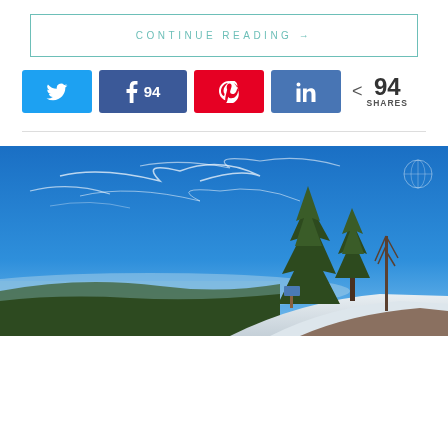CONTINUE READING →
[Figure (infographic): Social share bar with Twitter, Facebook (94), Pinterest, LinkedIn buttons and 94 SHARES count]
[Figure (photo): Winter landscape photo showing blue sky with wispy clouds, tall pine trees on a snowy hillside, with a valley and distant hills in the background]